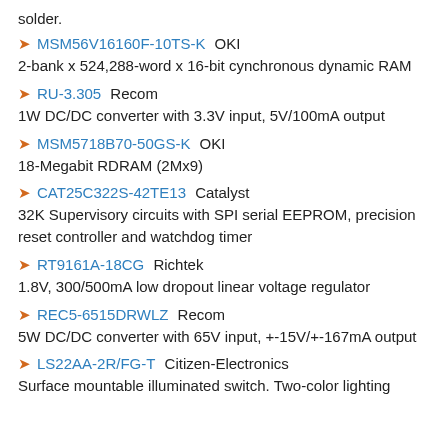solder.
MSM56V16160F-10TS-K OKI
2-bank x 524,288-word x 16-bit cynchronous dynamic RAM
RU-3.305 Recom
1W DC/DC converter with 3.3V input, 5V/100mA output
MSM5718B70-50GS-K OKI
18-Megabit RDRAM (2Mx9)
CAT25C322S-42TE13 Catalyst
32K Supervisory circuits with SPI serial EEPROM, precision reset controller and watchdog timer
RT9161A-18CG Richtek
1.8V, 300/500mA low dropout linear voltage regulator
REC5-6515DRWLZ Recom
5W DC/DC converter with 65V input, +-15V/+-167mA output
LS22AA-2R/FG-T Citizen-Electronics
Surface mountable illuminated switch. Two-color lighting